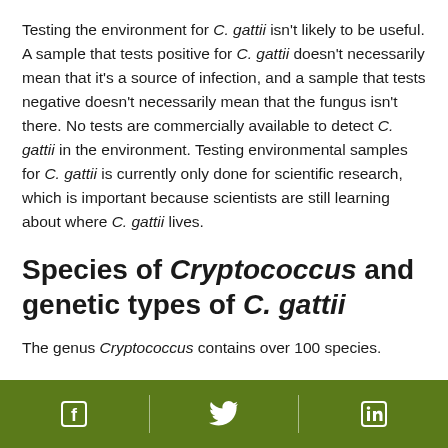Testing the environment for C. gattii isn't likely to be useful. A sample that tests positive for C. gattii doesn't necessarily mean that it's a source of infection, and a sample that tests negative doesn't necessarily mean that the fungus isn't there. No tests are commercially available to detect C. gattii in the environment. Testing environmental samples for C. gattii is currently only done for scientific research, which is important because scientists are still learning about where C. gattii lives.
Species of Cryptococcus and genetic types of C. gattii
The genus Cryptococcus contains over 100 species.
Facebook | Twitter | LinkedIn